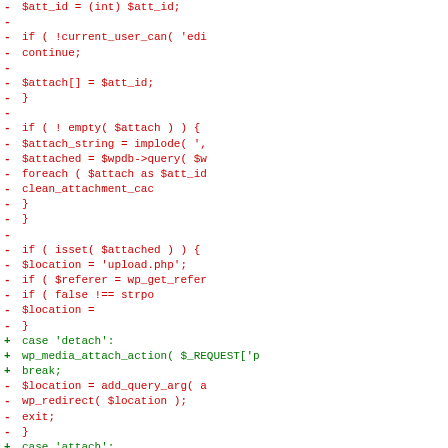[Figure (screenshot): A code diff view showing removed lines (red, prefixed with -) and added lines (green, prefixed with +) from a PHP file. The removed lines show PHP code handling attachment IDs, current_user_can checks, implode, wpdb->query, foreach, clean_attachment_cache, isset($attached), $location, wp_get_referer, strpos, add_query_arg, wp_redirect, and exit. The added lines show case 'detach', wp_media_attach_action, break, case 'attach', and wp_media_attach_action calls.]